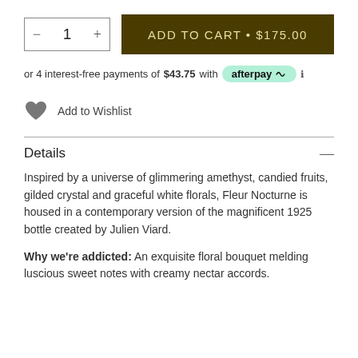[Figure (screenshot): Quantity selector box with minus button, number 1, and plus button]
[Figure (infographic): Add to Cart button with price: ADD TO CART • $175.00]
or 4 interest-free payments of $43.75 with afterpay ℹ
Add to Wishlist
Details
Inspired by a universe of glimmering amethyst, candied fruits, gilded crystal and graceful white florals, Fleur Nocturne is housed in a contemporary version of the magnificent 1925 bottle created by Julien Viard.
Why we're addicted: An exquisite floral bouquet melding luscious sweet notes with creamy nectar accords.